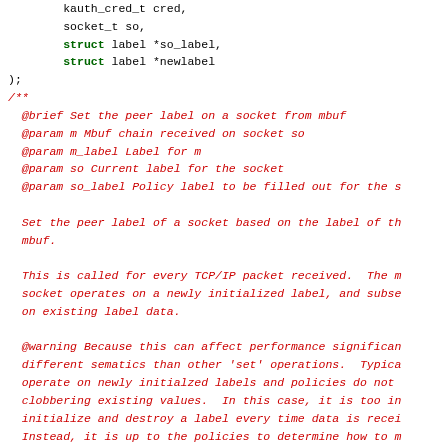Code snippet showing C typedef function parameters and doxygen comment block for mpo_socketpeer_label_associate_mbuf_t